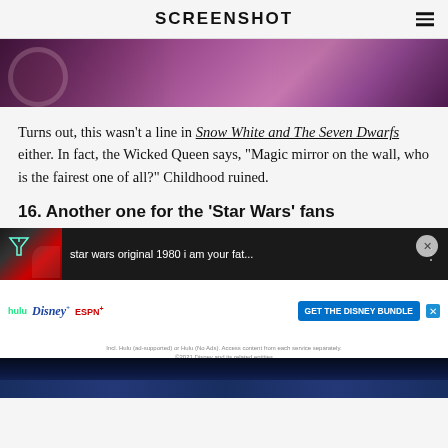SCREENSHOT
[Figure (photo): Close-up of a purple/magenta reflective circular surface, likely a magic mirror from Snow White]
Turns out, this wasn't a line in Snow White and The Seven Dwarfs either. In fact, the Wicked Queen says, “Magic mirror on the wall, who is the fairest one of all?” Childhood ruined.
16. Another one for the ‘Star Wars’ fans
[Figure (screenshot): Video ad showing a Star Wars clip titled 'star wars original 1980 i am your fat...' with a Disney Bundle advertisement below featuring Hulu, Disney+, and ESPN+ logos and a 'GET THE DISNEY BUNDLE' CTA button]